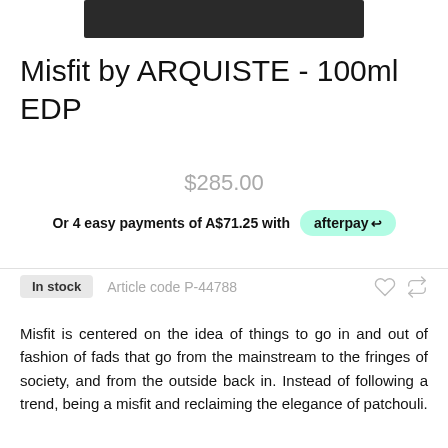[Figure (photo): Partial product image at top of page, dark/black tones]
Misfit by ARQUISTE - 100ml EDP
$285.00
Or 4 easy payments of A$71.25 with afterpay
In stock   Article code P-44788
Misfit is centered on the idea of things to go in and out of fashion of fads that go from the mainstream to the fringes of society, and from the outside back in. Instead of following a trend, being a misfit and reclaiming the elegance of patchouli.